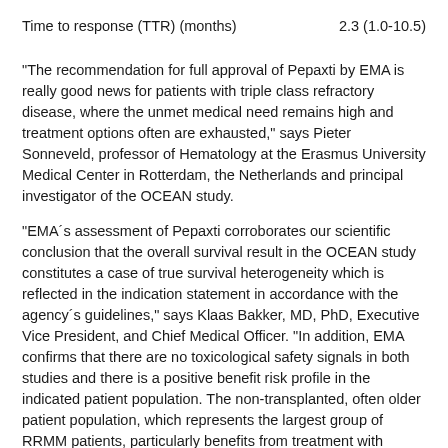| Time to response (TTR) (months) | 2.3 (1.0-10.5) |
"The recommendation for full approval of Pepaxti by EMA is really good news for patients with triple class refractory disease, where the unmet medical need remains high and treatment options often are exhausted," says Pieter Sonneveld, professor of Hematology at the Erasmus University Medical Center in Rotterdam, the Netherlands and principal investigator of the OCEAN study.
"EMA´s assessment of Pepaxti corroborates our scientific conclusion that the overall survival result in the OCEAN study constitutes a case of true survival heterogeneity which is reflected in the indication statement in accordance with the agency´s guidelines," says Klaas Bakker, MD, PhD, Executive Vice President, and Chief Medical Officer. "In addition, EMA confirms that there are no toxicological safety signals in both studies and there is a positive benefit risk profile in the indicated patient population. The non-transplanted, often older patient population, which represents the largest group of RRMM patients, particularly benefits from treatment with Pepaxti."
As previously disclosed, Oncopeptides has an EIB loan facility.